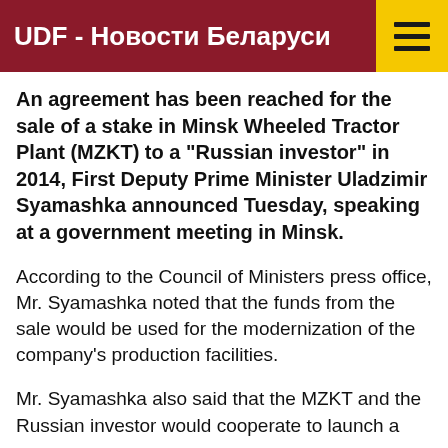UDF - Новости Беларуси
An agreement has been reached for the sale of a stake in Minsk Wheeled Tractor Plant (MZKT) to a "Russian investor" in 2014, First Deputy Prime Minister Uladzimir Syamashka announced Tuesday, speaking at a government meeting in Minsk.
According to the Council of Ministers press office, Mr. Syamashka noted that the funds from the sale would be used for the modernization of the company's production facilities.
Mr. Syamashka also said that the MZKT and the Russian investor would cooperate to launch a production of products, which is the launch...